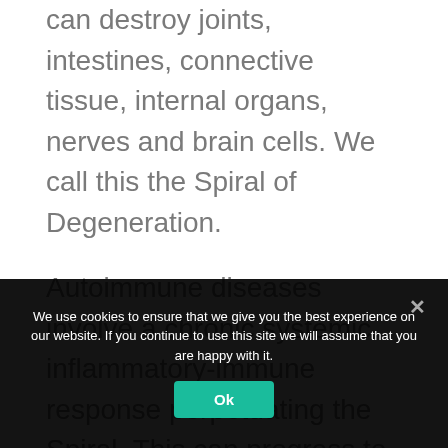can destroy joints, intestines, connective tissue, internal organs, nerves and brain cells. We call this the Spiral of Degeneration.
Autoimmune diseases involve a chronic systemic inflammatory-immune response perpetuating the Spiral. This can progress to involve the lungs, heart, kidneys, brain and liver, and even predispose to cancer. Many patients have two or more...
We use cookies to ensure that we give you the best experience on our website. If you continue to use this site we will assume that you are happy with it.